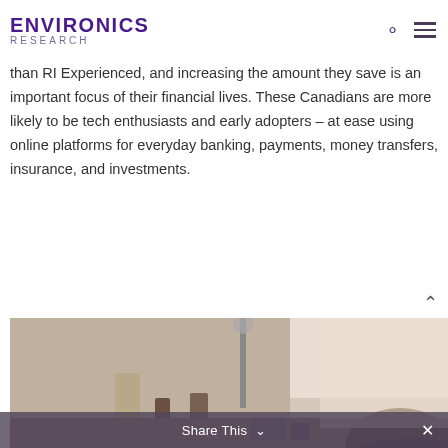ENVIRONICS RESEARCH
than RI Experienced, and increasing the amount they save is an important focus of their financial lives. These Canadians are more likely to be tech enthusiasts and early adopters – at ease using online platforms for everyday banking, payments, money transfers, insurance, and investments.
[Figure (photo): Photograph of a person sitting at a desk or table, viewed from above/behind, in a domestic interior setting with shelves and objects visible in the background.]
Share This